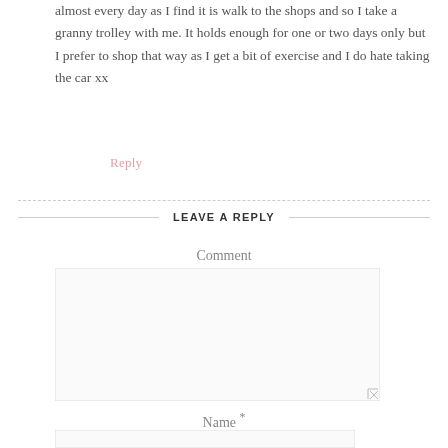almost every day as I find it is walk to the shops and so I take a granny trolley with me. It holds enough for one or two days only but I prefer to shop that way as I get a bit of exercise and I do hate taking the car xx
Reply
LEAVE A REPLY
Comment
Name *